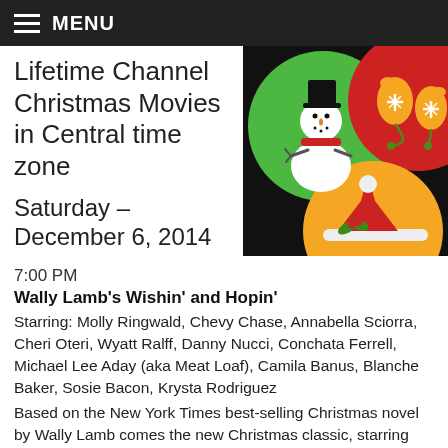MENU
Lifetime Channel Christmas Movies in Central time zone
Saturday – December 6, 2014
[Figure (illustration): Christmas-themed pop-art style illustration with three circles on black background: green circle with a snowman wearing a red scarf and black top hat, red circle with two yellow mittens decorated with white snowflakes, and an orange circle with a red Santa hat with white trim and holly decoration.]
7:00 PM
Wally Lamb's Wishin' and Hopin'
Starring: Molly Ringwald, Chevy Chase, Annabella Sciorra, Cheri Oteri, Wyatt Ralff, Danny Nucci, Conchata Ferrell, Michael Lee Aday (aka Meat Loaf), Camila Banus, Blanche Baker, Sosie Bacon, Krysta Rodriguez
Based on the New York Times best-selling Christmas novel by Wally Lamb comes the new Christmas classic, starring Molly Ringwald featuring Chevy Chase, the rest…